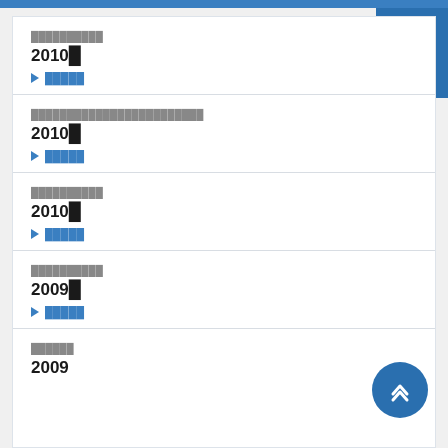██████████ 2010█ ▶ █████
████████████████████████ 2010█ ▶ █████
██████████ 2010█ ▶ █████
██████████ 2009█ ▶ █████
██████2009